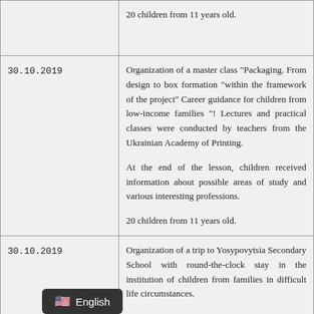| Date | Description |
| --- | --- |
|  | 20 children from 11 years old. |
| 30.10.2019 | Organization of a master class "Packaging. From design to box formation "within the framework of the project" Career guidance for children from low-income families "! Lectures and practical classes were conducted by teachers from the Ukrainian Academy of Printing.

At the end of the lesson, children received information about possible areas of study and various interesting professions.

20 children from 11 years old. |
| 30.10.2019 | Organization of a trip to Yosypovytsia Secondary School with round-the-clock stay in the institution of children from families in difficult life circumstances.

The institution educates 11 children aged 2 to 6 years.

ose: developing classes with children, conducted art therapy with |